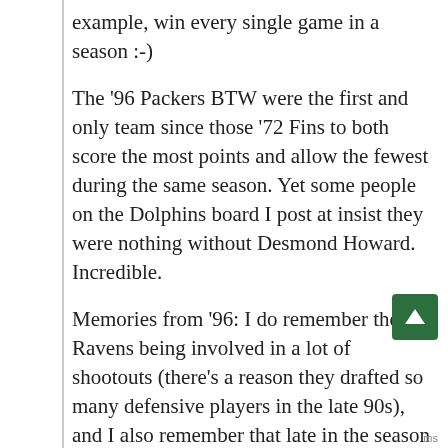example, win every single game in a season :-)
The '96 Packers BTW were the first and only team since those '72 Fins to both score the most points and allow the fewest during the same season. Yet some people on the Dolphins board I post at insist they were nothing without Desmond Howard. Incredible.
Memories from '96: I do remember the Ravens being involved in a lot of shootouts (there's a reason they drafted so many defensive players in the late 90s), and I also remember that late in the season it looked for certain that the Chiefs would make the playoffs while the Jags were languishing at 4-7 or so. To me, seeing the Jags get in while the Chiefs collapsed was the biggest shocker of the regular season. And their victory over the Bills (first playoff loss ever at
ms